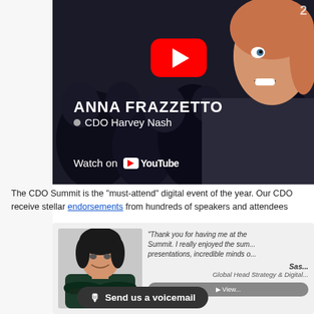[Figure (screenshot): YouTube video thumbnail featuring Anna Frazzetto, CDO Harvey Nash, with red YouTube play button overlay and 'Watch on YouTube' text]
The CDO Summit is the "must-attend" digital event of the year. Our CDO receive stellar endorsements from hundreds of speakers and attendees
[Figure (photo): Testimonial card with photo of woman with dark hair and arms crossed, and quote: 'Thank you for having me at the Summit. I really enjoyed the sum... presentations, incredible minds o...' attributed to Sas..., Global Head Strategy & Digital]
🎙 Send us a voicemail